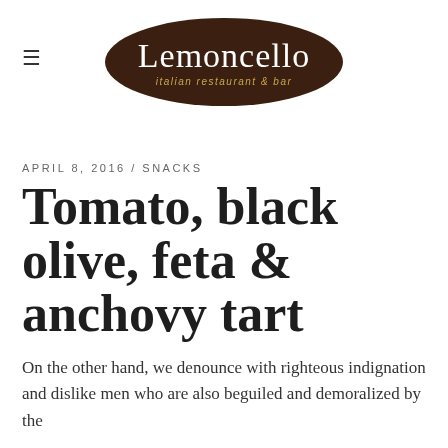[Figure (logo): Lemoncello Italian Restaurant & Bar logo: dark brown oval with white script text 'Lemoncello' and gold italic subtitle 'italian restaurant & bar']
APRIL 8, 2016 / SNACKS
Tomato, black olive, feta & anchovy tart
On the other hand, we denounce with righteous indignation and dislike men who are also beguiled and demoralized by the